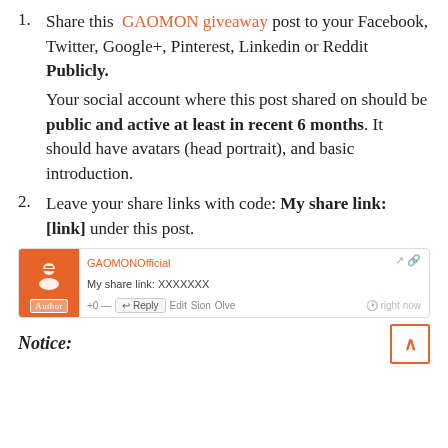1. Share this GAOMON giveaway post to your Facebook, Twitter, Google+, Pinterest, Linkedin or Reddit Publicly.
Your social account where this post shared on should be public and active at least in recent 6 months. It should have avatars (head portrait), and basic introduction.
2. Leave your share links with code: My share link: [link] under this post.
[Figure (screenshot): Comment box from GAOMONOfficial showing 'My share link: XXXXXXX' with reply button and action links]
Notice: